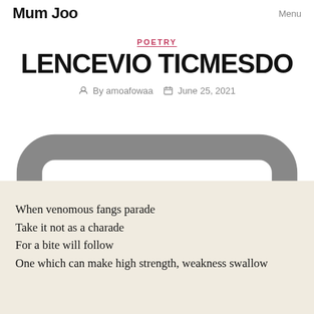Mum Joo | Menu
POETRY
LENCEVIO TICMESDO
By amoafowaa   June 25, 2021
8 Comments
When venomous fangs parade
Take it not as a charade
For a bite will follow
One which can make high strength, weakness swallow